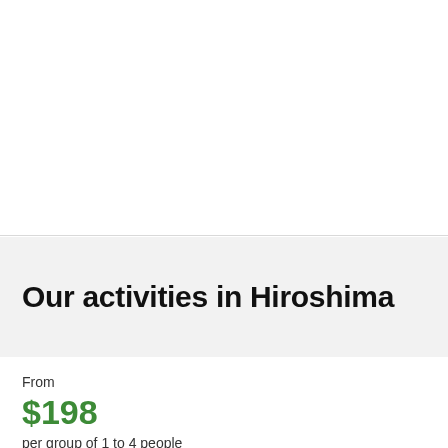Our activities in Hiroshima
From
$198
per group of 1 to 4 people